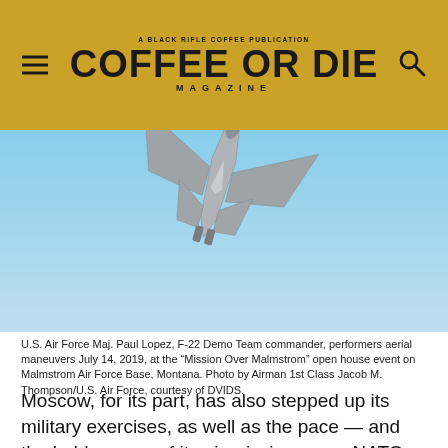COFFEE OR DIE MAGAZINE
[Figure (photo): F-22 fighter jet performing aerial maneuvers against a blue sky background, viewed from below at an angle, showing the underside of the aircraft]
U.S. Air Force Maj. Paul Lopez, F-22 Demo Team commander, performers aerial maneuvers July 14, 2019, at the “Mission Over Malmstrom” open house event on Malmstrom Air Force Base, Montana. Photo by Airman 1st Class Jacob M. Thompson/U.S. Air Force, courtesy of DVIDS.
Moscow, for its part, has also stepped up its military exercises, as well as the pace — and the boldness — of its air missions near NATO countries. Aerial encounters between Russian and NATO aircraft have consequently increased. According to Melnyk, the former Soviet fighter pilot and Ukrainian defense expert, some of those Russian air patrols